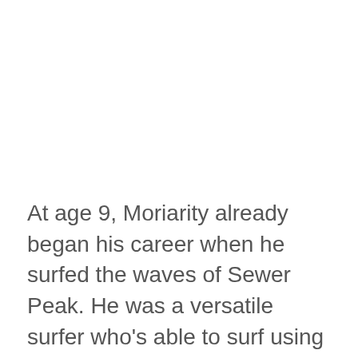At age 9, Moriarity already began his career when he surfed the waves of Sewer Peak. He was a versatile surfer who's able to surf using both longboards and shortboards.
Moriarity was someone who liked to explore the limits of his abilities. Unlike other riders who only focused on surfing, Moriarity didn't confine himself